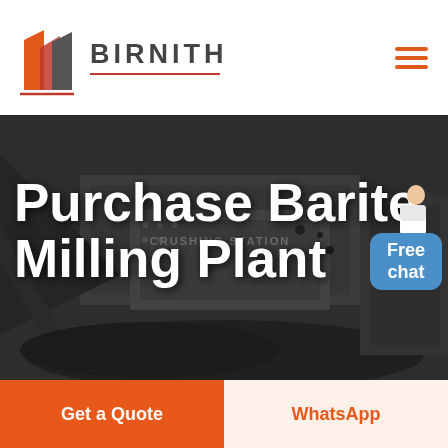BIRNITH
[Figure (screenshot): Industrial mining/crushing station machinery hero image with heavy equipment, conveyor belts, and coal/ore material in a dark industrial setting. Text 'CRUSHING STATION' visible on machinery.]
Purchase Barite Milling Plant
[Figure (illustration): Customer service representative with Free chat speech bubble (blue rounded rectangle)]
Get a Quote
WhatsApp